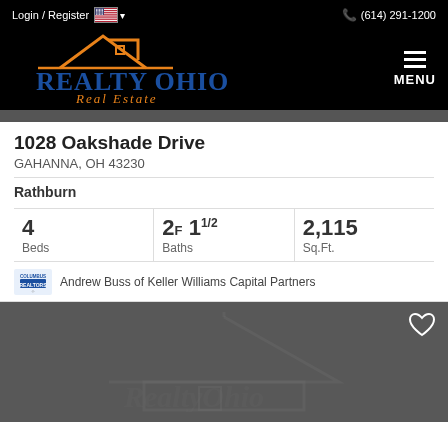Login / Register  (614) 291-1200
[Figure (logo): Realty Ohio Real Estate logo with orange house icon and blue text on black background]
1028 Oakshade Drive
GAHANNA, OH 43230
Rathburn
4 Beds  2F 1 1/2 Baths  2,115 Sq.Ft.
Andrew Buss of Keller Williams Capital Partners
[Figure (photo): Dark gray property photo placeholder with faint house watermark outline and white heart/favorite icon in top right corner]